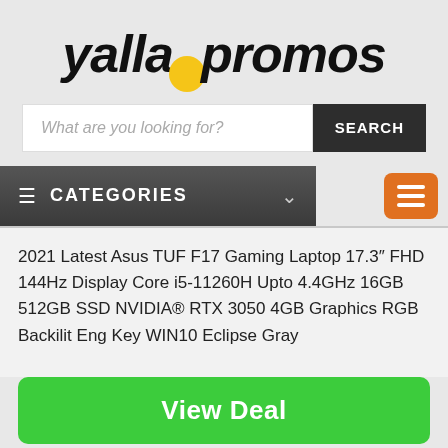[Figure (logo): YallaPromos logo in bold italic black text with a yellow circle accent between 'yalla' and 'promos']
What are you looking for?
SEARCH
CATEGORIES
2021 Latest Asus TUF F17 Gaming Laptop 17.3" FHD 144Hz Display Core i5-11260H Upto 4.4GHz 16GB 512GB SSD NVIDIA® RTX 3050 4GB Graphics RGB Backilit Eng Key WIN10 Eclipse Gray
View Deal